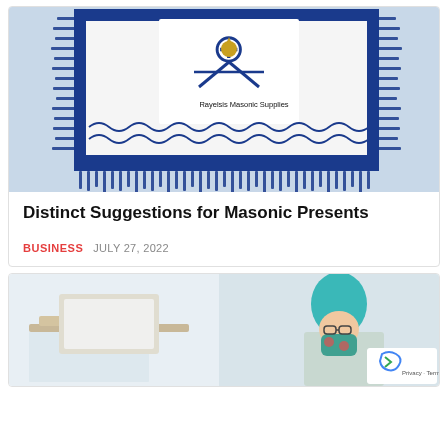[Figure (photo): Masonic apron with blue fringe and embroidered Masonic symbols on white background, labeled Rayelsis Masonic Supplies]
Distinct Suggestions for Masonic Presents
BUSINESS   JULY 27, 2022
[Figure (photo): Split image: left side shows a white desk workspace, right side shows a person with teal/blue hair wearing a teal face mask with red pattern]